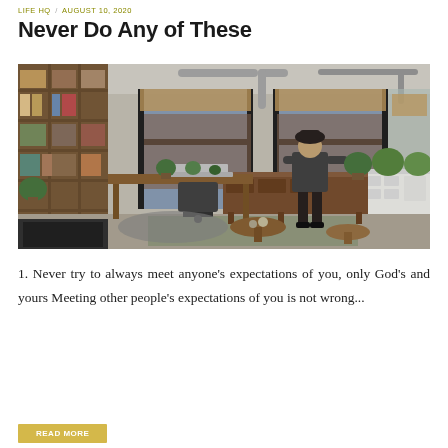LIFE HQ / AUGUST 10, 2020
Never Do Any of These
[Figure (photo): Interior photo of a cozy loft-style room with wooden bookshelves on the left, large windows with natural light, a person wearing a dark hat and outfit standing near the windows tending to potted plants, a wooden desk with a laptop, and mid-century modern furniture throughout.]
1. Never try to always meet anyone's expectations of you, only God's and yours Meeting other people's expectations of you is not wrong...